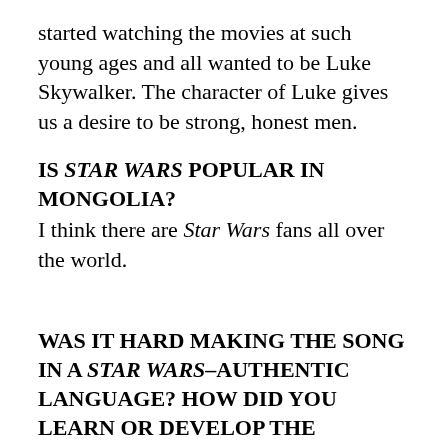started watching the movies at such young ages and all wanted to be Luke Skywalker. The character of Luke gives us a desire to be strong, honest men.
IS STAR WARS POPULAR IN MONGOLIA?
I think there are Star Wars fans all over the world.
WAS IT HARD MAKING THE SONG IN A STAR WARS–AUTHENTIC LANGUAGE? HOW DID YOU LEARN OR DEVELOP THE LANGUAGE AND THEN WRITE THE LYRICS?
Everything in Star Wars is unique, the characters included, and many have completely different alien languages. That's why we had to create a